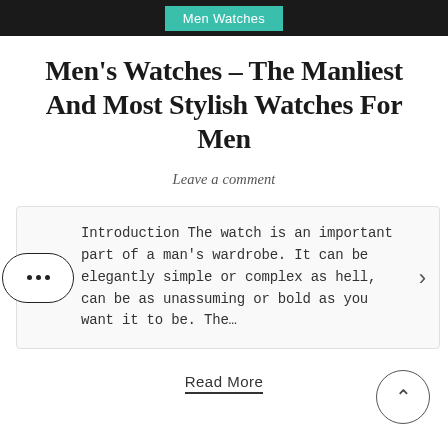Men Watches
Men's Watches – The Manliest And Most Stylish Watches For Men
Leave a comment
Introduction The watch is an important part of a man's wardrobe. It can be elegantly simple or complex as hell, can be as unassuming or bold as you want it to be. The…
Read More